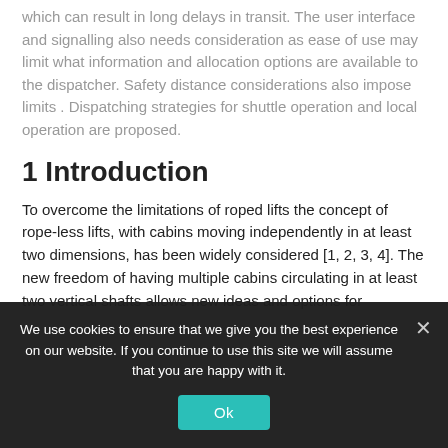which can result in long delays in transit. The user interface and signalling also needs consideration as ease of use may limit what information and allocation options are available to the dispatcher. Safety distance considerations also impose limits . Dispatching strategies for shuttle operation and local operation are proposed.
1 Introduction
To overcome the limitations of roped lifts the concept of rope-less lifts, with cabins moving independently in at least two dimensions, has been widely considered [1, 2, 3, 4]. The new freedom of having multiple cabins circulating in at least two vertical shafts allows new ideas and options for
We use cookies to ensure that we give you the best experience on our website. If you continue to use this site we will assume that you are happy with it.